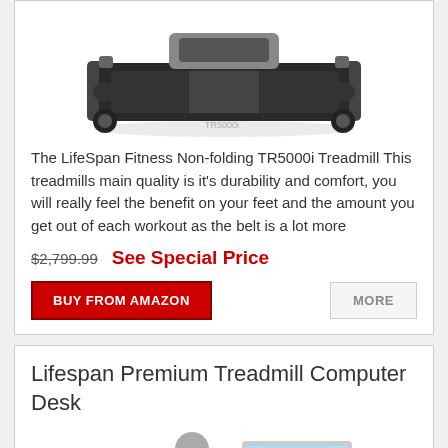[Figure (photo): Photo of LifeSpan Fitness Non-folding TR5000i Treadmill, viewed from above at an angle, dark belt with silver/grey frame]
The LifeSpan Fitness Non-folding TR5000i Treadmill This treadmills main quality is it's durability and comfort, you will really feel the benefit on your feet and the amount you get out of each workout as the belt is a lot more
$2,799.99  See Special Price
BUY FROM AMAZON   MORE
Lifespan Premium Treadmill Computer Desk
[Figure (photo): Photo of a person using a treadmill desk with a computer monitor]